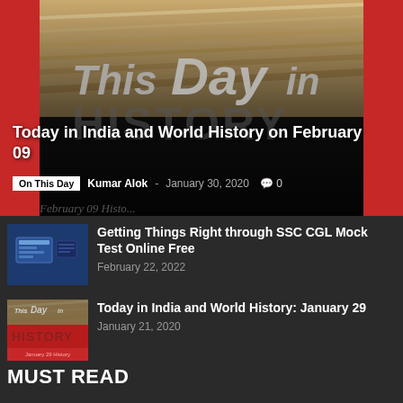[Figure (photo): Hero banner with 'This Day in History' branding on a red and dark background with book pages visible]
Today in India and World History on February 09
On This Day  Kumar Alok  -  January 30, 2020  0
[Figure (screenshot): Blue thumbnail showing SSC CGL mock test interface icon]
Getting Things Right through SSC CGL Mock Test Online Free
February 22, 2022
[Figure (photo): This Day in History thumbnail for January 29 History with red background]
Today in India and World History: January 29
January 21, 2020
MUST READ